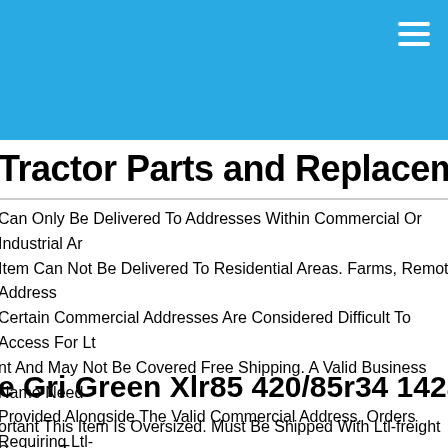Tractor Parts and Replacement
Can Only Be Delivered To Addresses Within Commercial Or Industrial Areas. Item Can Not Be Delivered To Residential Areas. Farms, Remote Addresses. Certain Commercial Addresses Are Considered Difficult To Access For Ltl-freight And May Not Be Covered Free Shipping. A Valid Business Name Needs Provided Alongside The Valid Commercial Address. Orders Requiring Ltl-freight Shipping Will Be Shipped Out Within 3 Business Days After A Valid Address Has Been Provided And Verified. Ltl-freight Delivery Personnel Are Not Available For Additional Requests During Delivery. Any Changes After An Order Been Shipped Are Not Available. For More Information, Please Click On "Know More".
e Gri Green Xlr85 420/85r34 142a8 Tractor
ortant This Item Is Oversized. Must Be Shipped With Ltl-freight Service. T